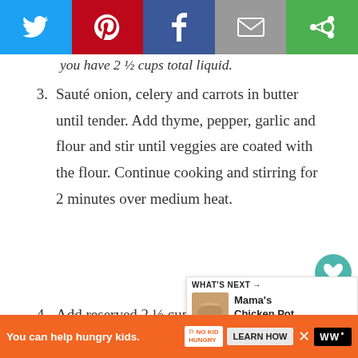[Figure (screenshot): Social media share bar with Twitter, Pinterest, Facebook, Email, and other share buttons]
you have 2 ½ cups total liquid.
3. Sauté onion, celery and carrots in butter until tender. Add thyme, pepper, garlic and flour and stir until veggies are coated with the flour. Continue cooking and stirring for 2 minutes over medium heat.
4. Add reserved 2 ½ cups chicken stock and half-and-half to veggies and stir continuously until smooth and thickened (about 3-5 minutes). Stir in
[Figure (screenshot): What's Next panel showing Mama's Chicken Pot... with thumbnail image]
[Figure (screenshot): Advertisement bar: You can help hungry kids. No Kid Hungry. Learn How. WW logo.]